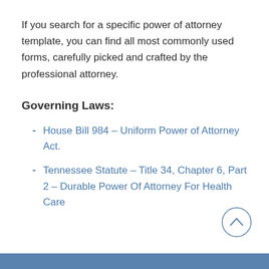If you search for a specific power of attorney template, you can find all most commonly used forms, carefully picked and crafted by the professional attorney.
Governing Laws:
House Bill 984 – Uniform Power of Attorney Act.
Tennessee Statute – Title 34, Chapter 6, Part 2 – Durable Power Of Attorney For Health Care